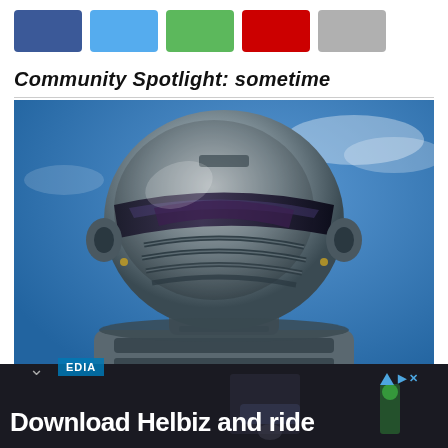[Figure (other): Five colored social sharing icon boxes: Facebook (dark blue), Twitter (light blue), Google+ (green), YouTube (red), Email (gray)]
Community Spotlight: sometime
[Figure (photo): Close-up photo of a silver robot/mecha helmet head against a blue sky background, with horizontal visor/grill details. A 'MEDIA' label overlay is visible at the bottom left with a chevron/arrow icon.]
[Figure (photo): Advertisement banner showing 'Download Helbiz and ride' text in white on dark background with a person riding a scooter. Ad badge triangle icon visible at top right.]